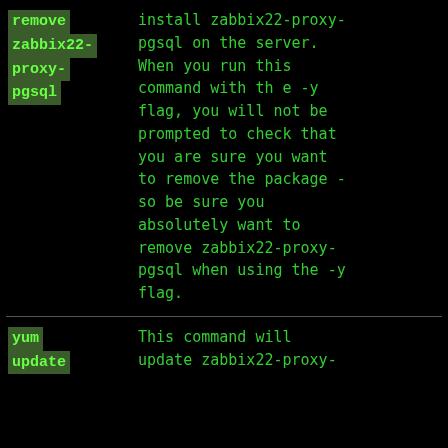| Command | Description |
| --- | --- |
| remove zabbix22-proxy-pgsql | install zabbix22-proxy-pgsql on the server. When you run this command with th e -y flag, you will not be prompted to check that you are sure you want to remove the package - so be sure you absolutely want to remove zabbix22-proxy-pgsql when using the -y flag. |
| yum update | This command will update zabbix22-proxy- |